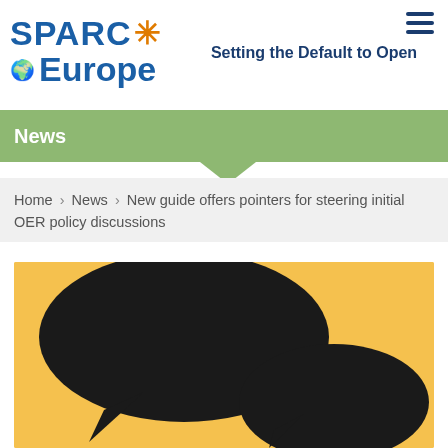SPARC Europe — Setting the Default to Open
News
Home › News › New guide offers pointers for steering initial OER policy discussions
[Figure (illustration): Illustration of two black speech bubble silhouettes on an orange/yellow background, suggesting conversation or discussion.]